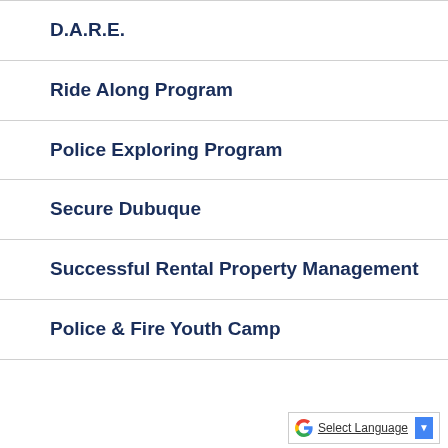D.A.R.E.
Ride Along Program
Police Exploring Program
Secure Dubuque
Successful Rental Property Management
Police & Fire Youth Camp
[Figure (other): Google Translate widget with 'Select Language' button and dropdown arrow]